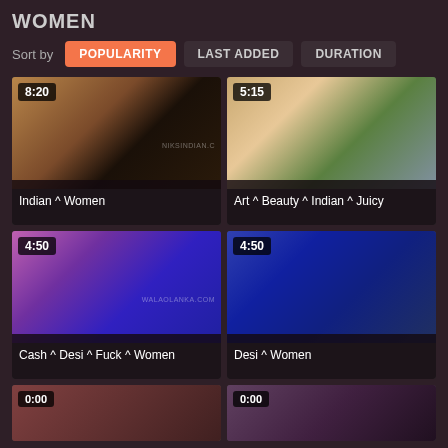WOMEN
Sort by  POPULARITY  LAST ADDED  DURATION
[Figure (screenshot): Video thumbnail grid showing 4 adult video thumbnails with duration badges and tag-style titles. Top-left: 8:20, 'Indian ^ Women'. Top-right: 5:15, 'Art ^ Beauty ^ Indian ^ Juicy'. Bottom-left: 4:50, 'Cash ^ Desi ^ Fuck ^ Women'. Bottom-right: 4:50, 'Desi ^ Women'. Partial row at bottom.]